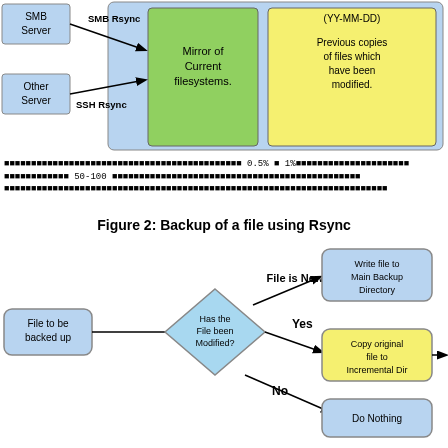[Figure (flowchart): Top flowchart showing SMB Server and Other Server connected via SMB Rsync and SSH Rsync to a central blue box containing a green Mirror of Current filesystems box and a yellow box with Previous copies of files which have been modified (YY-MM-DD).]
xxxxxxxxxxxxxxxxxxxxxxxxxxxxxxxxxxxxxxxxxxxxxxxx 0.5% x 1%xxxxxxxxxxxxxxxxxxxxxxxxxxxxxxx xxxxxxxxxxxx 50-100 xxxxxxxxxxxxxxxxxxxxxxxxxxxxxxxxxxxxxxxxxxxxxxxxxxxxxxxxxxxxxxx xxxxxxxxxxxxxxxxxxxxxxxxxxxxxxxxxxxxxxxxxxxxxxxxxxxxxxxxxxxxxxxxxxxxxxxx
Figure 2: Backup of a file using Rsync
[Figure (flowchart): Flowchart showing: File to be backed up -> diamond Has the File been Modified? -> File is New -> Write file to Main Backup Directory; -> Yes -> Copy original file to Incremental Dir ->; -> No -> Do Nothing]